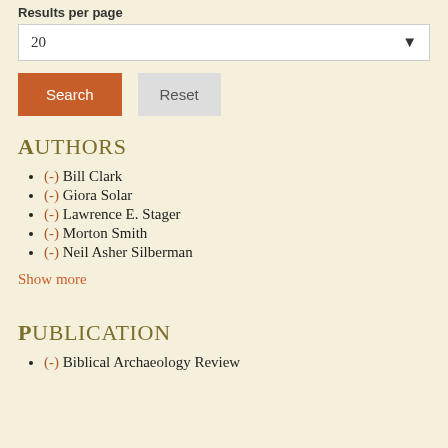Results per page
20
Search
Reset
Authors
(-) Bill Clark
(-) Giora Solar
(-) Lawrence E. Stager
(-) Morton Smith
(-) Neil Asher Silberman
Show more
Publication
(-) Biblical Archaeology Review